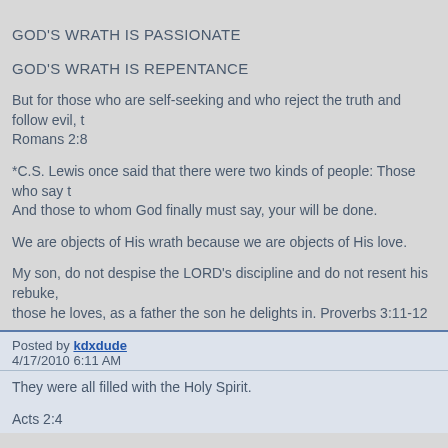GOD'S WRATH IS PASSIONATE
GOD'S WRATH IS REPENTANCE
But for those who are self-seeking and who reject the truth and follow evil, t Romans 2:8
*C.S. Lewis once said that there were two kinds of people: Those who say t And those to whom God finally must say, your will be done.
We are objects of His wrath because we are objects of His love.
My son, do not despise the LORD's discipline and do not resent his rebuke, those he loves, as a father the son he delights in. Proverbs 3:11-12
Posted by kdxdude
4/17/2010 6:11 AM
They were all filled with the Holy Spirit.

Acts 2:4